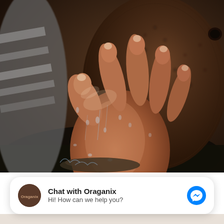[Figure (photo): Close-up photo of a wet hand gripping a large coconut with water droplets visible. Dark background with water splashing. Person wearing striped sleeve visible on left.]
Chat with Oraganix
Hi! How can we help you?